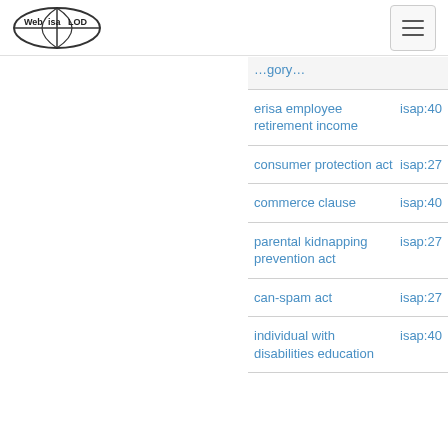Web isa LOD (logo) + hamburger menu
| name | id |
| --- | --- |
| erisa employee retirement income | isap:4070508... |
| consumer protection act | isap:2796469... |
| commerce clause | isap:4067133... |
| parental kidnapping prevention act | isap:2796466... |
| can-spam act | isap:2796465... |
| individual with disabilities education | isap:4018360... |